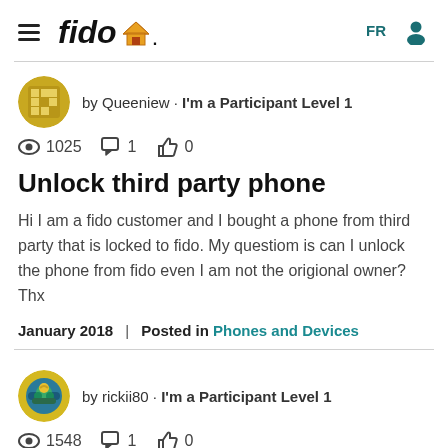fido | FR
by Queeniew • I'm a Participant Level 1
1025 views, 1 comment, 0 likes
Unlock third party phone
Hi I am a fido customer and I bought a phone from third party that is locked to fido. My questiom is can I unlock the phone from fido even I am not the origional owner? Thx
January 2018 | Posted in Phones and Devices
by rickii80 • I'm a Participant Level 1
1548 views, 1 comment, 0 likes